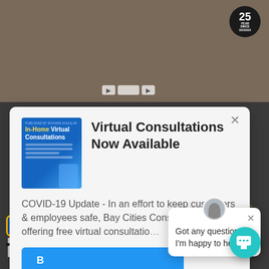[Figure (screenshot): Background showing a kitchen photo at top, navigation controls, and dark overlay at bottom with text including IKEA logo, YouTube icon, and partial text 'IES AN', 'TCHEN']
Virtual Consultations Now Available
COVID-19 Update - In an effort to keep customers & employees safe, Bay Cities Constructions is offering free virtual consultatio…
[Figure (screenshot): Chat popup with avatar showing: 'Got any questions? I'm happy to help.']